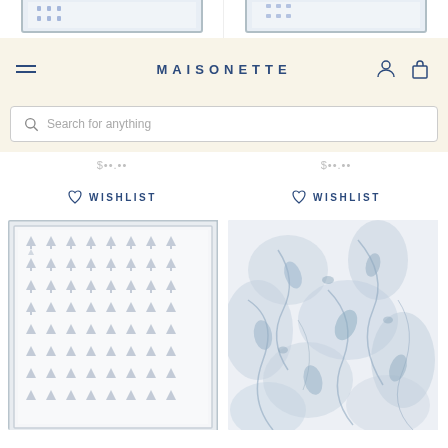[Figure (screenshot): Top portion showing two product images with decorative fabric/wallpaper patterns, partially cropped]
MAISONETTE
[Figure (screenshot): Search bar with magnifying glass icon and placeholder text 'Search for anything']
$••.••
$••.••
WISHLIST
WISHLIST
[Figure (photo): Product image: white fabric/wallpaper with repeating small grey botanical/floral motif pattern in a bordered frame]
[Figure (photo): Product image: white fabric/wallpaper with blue-grey floral and botanical pattern including leaves and flowers]